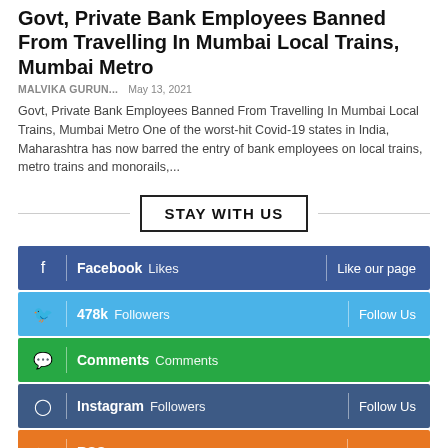Govt, Private Bank Employees Banned From Travelling In Mumbai Local Trains, Mumbai Metro
MALVIKA GURUN...   May 13, 2021
Govt, Private Bank Employees Banned From Travelling In Mumbai Local Trains, Mumbai Metro One of the worst-hit Covid-19 states in India, Maharashtra has now barred the entry of bank employees on local trains, metro trains and monorails,...
STAY WITH US
f | Facebook Likes | Like our page
478k Followers | Follow Us
Comments Comments
Instagram Followers | Follow Us
RSS Subscribe | Subscribe